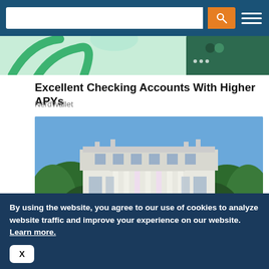[Figure (illustration): Partial advertisement banner showing green credit/debit card graphics on light green background]
Excellent Checking Accounts With Higher APYs
NerdWallet
[Figure (photo): Photograph of the White House South Portico facade with columns, fountain, and surrounding trees under a blue sky]
By using the website, you agree to our use of cookies to analyze website traffic and improve your experience on our website. Learn more.
X